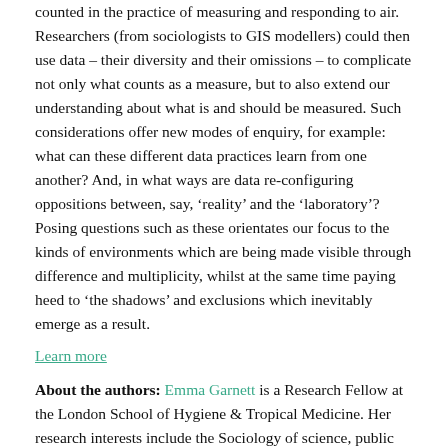counted in the practice of measuring and responding to air. Researchers (from sociologists to GIS modellers) could then use data – their diversity and their omissions – to complicate not only what counts as a measure, but to also extend our understanding about what is and should be measured. Such considerations offer new modes of enquiry, for example: what can these different data practices learn from one another? And, in what ways are data re-configuring oppositions between, say, 'reality' and the 'laboratory'? Posing questions such as these orientates our focus to the kinds of environments which are being made visible through difference and multiplicity, whilst at the same time paying heed to 'the shadows' and exclusions which inevitably emerge as a result.
Learn more
About the authors: Emma Garnett is a Research Fellow at the London School of Hygiene & Tropical Medicine. Her research interests include the Sociology of science, public health and knowledge making (see her on twitter @Emmargarnett). Nerea Calvillo is Assistant Professor at the Centre for Interdisciplinary Methodologies, University of...